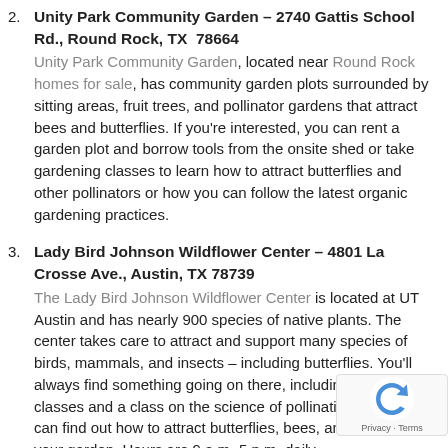2. Unity Park Community Garden – 2740 Gattis School Rd., Round Rock, TX 78664
Unity Park Community Garden, located near Round Rock homes for sale, has community garden plots surrounded by sitting areas, fruit trees, and pollinator gardens that attract bees and butterflies. If you're interested, you can rent a garden plot and borrow tools from the onsite shed or take gardening classes to learn how to attract butterflies and other pollinators or how you can follow the latest organic gardening practices.
3. Lady Bird Johnson Wildflower Center – 4801 La Crosse Ave., Austin, TX 78739
The Lady Bird Johnson Wildflower Center is located at UT Austin and has nearly 900 species of native plants. The center takes care to attract and support many species of birds, mammals, and insects – including butterflies. You'll always find something going on there, including yoga classes and a class on the science of pollination, where you can find out how to attract butterflies, bees, and more to your garden. Hours are 9 a.m.-5 p.m. daily.
4. Zilker Botanical Garden – 2220 Barton Springs Rd., TX 78746
Located on 28 quiet acres near Austin homes for sale, Zilker Botanical Garden is a lush urban oasis. You can see...